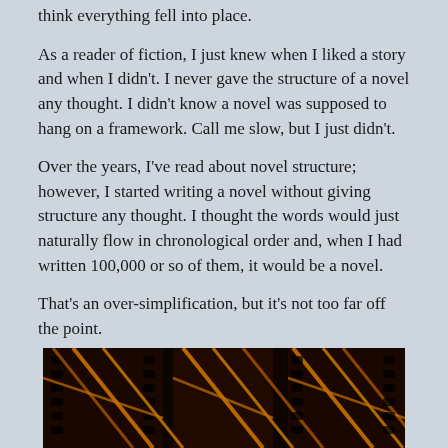think everything fell into place.
As a reader of fiction, I just knew when I liked a story and when I didn't. I never gave the structure of a novel any thought. I didn't know a novel was supposed to hang on a framework. Call me slow, but I just didn't.
Over the years, I've read about novel structure; however, I started writing a novel without giving structure any thought. I thought the words would just naturally flow in chronological order and, when I had written 100,000 or so of them, it would be a novel.
That's an over-simplification, but it's not too far off the point.
[Figure (photo): Film strips with orange/golden lighting against a dark background, showing structural framework patterns.]